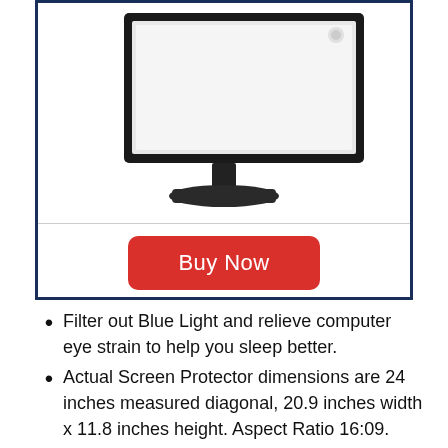[Figure (photo): A computer monitor with a black stand shown from a slight angle, with a white background inside a dark navy border box.]
Buy Now
Filter out Blue Light and relieve computer eye strain to help you sleep better.
Actual Screen Protector dimensions are 24 inches measured diagonal, 20.9 inches width x 11.8 inches height. Aspect Ratio 16:09.